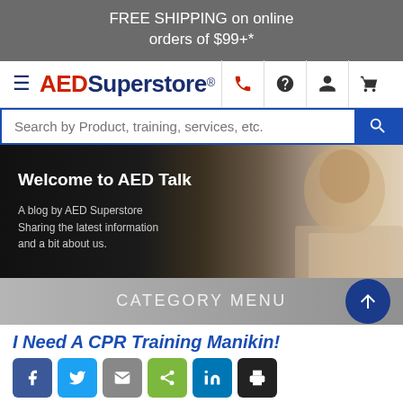FREE SHIPPING on online orders of $99+*
[Figure (logo): AEDSuperstore logo with hamburger menu and nav icons (phone, help, user, cart)]
Search by Product, training, services, etc.
[Figure (photo): AED Talk blog hero banner showing Welcome to AED Talk text, woman smiling at laptop]
CATEGORY MENU
I Need A CPR Training Manikin!
[Figure (infographic): Social share buttons: Facebook, Twitter, Email, Share, LinkedIn, Print]
[Figure (photo): Partial bottom image showing CPR training manikins]